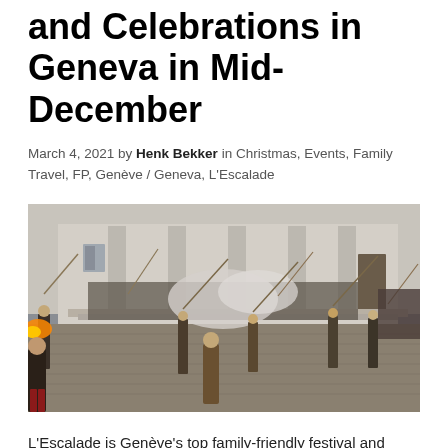and Celebrations in Geneva in Mid-December
March 4, 2021 by Henk Bekker in Christmas, Events, Family Travel, FP, Genève / Geneva, L'Escalade
[Figure (photo): Outdoor historical reenactment scene in a cobblestone square in front of a classical building. Costumed participants in period attire carry long spears/pikes and muskets with visible smoke/fire from firing. A large crowd of spectators watches from the steps and surrounding area.]
L'Escalade is Genève's top family-friendly festival and